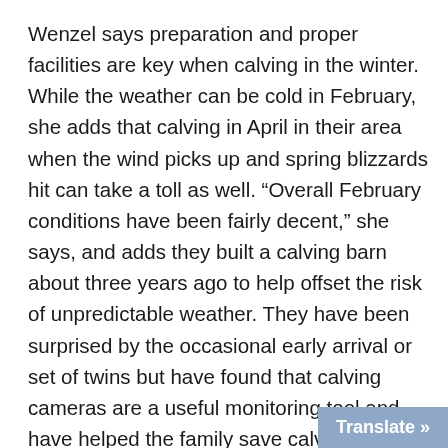Wenzel says preparation and proper facilities are key when calving in the winter. While the weather can be cold in February, she adds that calving in April in their area when the wind picks up and spring blizzards hit can take a toll as well. “Overall February conditions have been fairly decent,” she says, and adds they built a calving barn about three years ago to help offset the risk of unpredictable weather. They have been surprised by the occasional early arrival or set of twins but have found that calving cameras are a useful monitoring tool and have helped the family save calves. They have cameras installed in their barn as well as outside to help them keep a close eye on calving cows and newborns, but Wenzel cautions it is best to use them in combination with walking the pens. “Cameras can’t see everything so we still walk and check areas on foot as well,” she says. They have been continuously improving their calving
Translate »